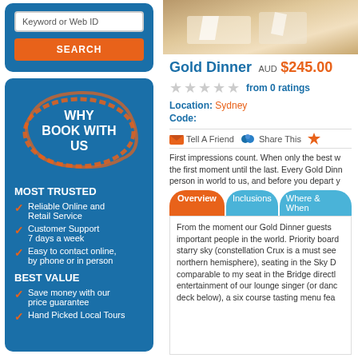Keyword or Web ID
SEARCH
[Figure (infographic): WHY BOOK WITH US logo with orange circular brush stroke on dark blue background]
MOST TRUSTED
Reliable Online and Retail Service
Customer Support 7 days a week
Easy to contact online, by phone or in person
BEST VALUE
Save money with our price guarantee
Hand Picked Local Tours
[Figure (photo): Dining table setup with napkins and cutlery, warm tones]
Gold Dinner AUD $245.00
from 0 ratings
Location: Sydney
Code:
Tell A Friend   Share This
First impressions count. When only the best will do, from the first moment until the last. Every Gold Dinner person in world to us, and before you depart y
Overview | Inclusions | Where & When
From the moment our Gold Dinner guests important people in the world. Priority board starry sky (constellation Crux is a must see northern hemisphere), seating in the Sky D comparable to my seat in the Bridge directl entertainment of our lounge singer (or danc deck below), a six course tasting menu fea